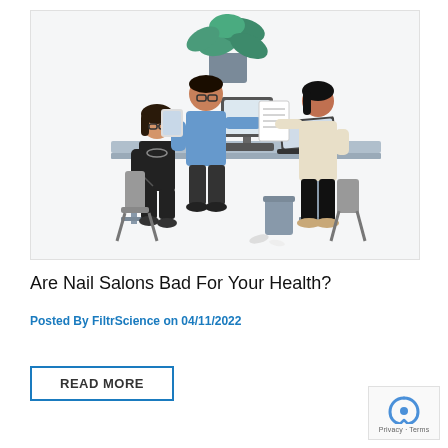[Figure (illustration): Flat vector illustration of three office workers around a desk. A woman in black sits on the left, a man in blue stands in the center holding a tablet and passing a document, and a woman in cream on the right receives the document. A large leafy plant is on the desk, along with a laptop and desktop computer monitor.]
Are Nail Salons Bad For Your Health?
Posted By FiltrScience on 04/11/2022
READ MORE